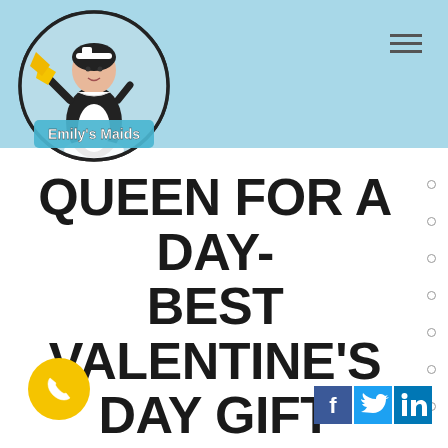[Figure (logo): Emily's Maids circular logo featuring a maid character in black and white uniform holding a yellow duster, with 'Emily's Maids' text in white on blue background]
QUEEN FOR A DAY- BEST VALENTINE'S DAY GIFT EVER!
[Figure (illustration): Yellow circle phone call button in bottom left]
[Figure (illustration): Facebook, Twitter, and LinkedIn social media icons in bottom right]